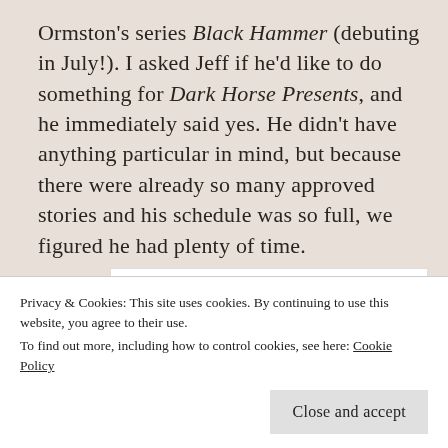Ormston's series Black Hammer (debuting in July!). I asked Jeff if he'd like to do something for Dark Horse Presents, and he immediately said yes. He didn't have anything particular in mind, but because there were already so many approved stories and his schedule was so full, we figured he had plenty of time.
[Figure (screenshot): Widget box with bold text 'And free.' and four circular avatars below (three showing faces, one blue with a plus icon)]
Privacy & Cookies: This site uses cookies. By continuing to use this website, you agree to their use.
To find out more, including how to control cookies, see here: Cookie Policy
Close and accept